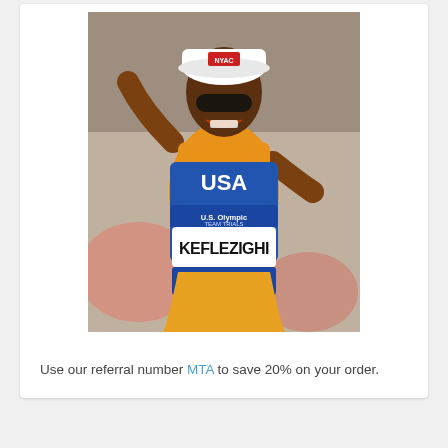[Figure (photo): A male runner wearing an orange USA singlet and shorts with a bib reading 'KEFLEZIGHI' and 'U.S. Olympic Team Trials', and a white cap, celebrating mid-race with arm raised]
Use our referral number MTA to save 20% on your order.